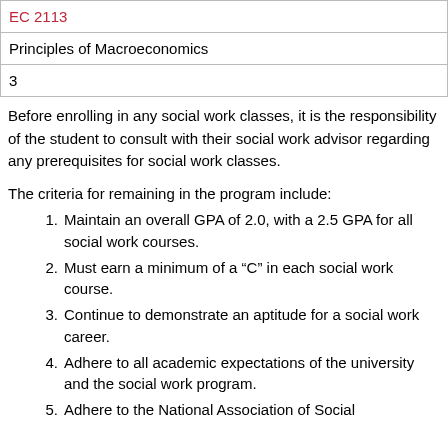| EC 2113 |
| Principles of Macroeconomics |
| 3 |
Before enrolling in any social work classes, it is the responsibility of the student to consult with their social work advisor regarding any prerequisites for social work classes.
The criteria for remaining in the program include:
Maintain an overall GPA of 2.0, with a 2.5 GPA for all social work courses.
Must earn a minimum of a “C” in each social work course.
Continue to demonstrate an aptitude for a social work career.
Adhere to all academic expectations of the university and the social work program.
Adhere to the National Association of Social